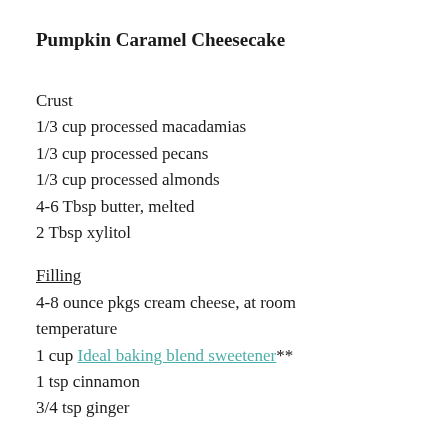Pumpkin Caramel Cheesecake
Crust
1/3 cup processed macadamias
1/3 cup processed pecans
1/3 cup processed almonds
4-6 Tbsp butter, melted
2 Tbsp xylitol
Filling
4-8 ounce pkgs cream cheese, at room temperature
1 cup Ideal baking blend sweetener**
1 tsp cinnamon
3/4 tsp ginger